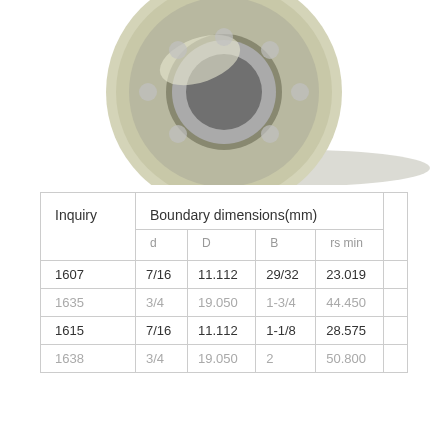[Figure (photo): 3D rendered image of a ball bearing (deep groove ball bearing) shown from a slight angle with metallic silver and chrome finish, with a shadow beneath it on a white background.]
| Inquiry | d | D | B | rs min |  |
| --- | --- | --- | --- | --- | --- |
| 1607 | 7/16 | 11.112 | 29/32 | 23.019 |  |
| 1635 | 3/4 | 19.050 | 1-3/4 | 44.450 |  |
| 1615 | 7/16 | 11.112 | 1-1/8 | 28.575 |  |
| 1638 | 3/4 | 19.050 | 2 | 50.800 |  |